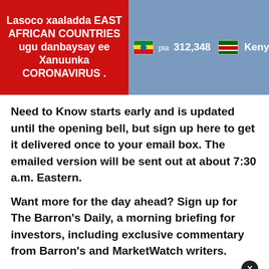[Figure (infographic): Top banner with red section containing Somali text about East African Countries Coronavirus, and grey-blue section showing Ethiopia flag with 312,348 and Kenya flag with 239,692]
Need to Know starts early and is updated until the opening bell, but sign up here to get it delivered once to your email box. The emailed version will be sent out at about 7:30 a.m. Eastern.
Want more for the day ahead? Sign up for The Barron's Daily, a morning briefing for investors, including exclusive commentary from Barron's and MarketWatch writers.
[Figure (screenshot): Notification popup showing 'Yankees host the Blue Jays to begin 4-game series' posted 14 hours ago, with blue bell icon with badge showing 3, and X close button, plus a 'ket' link]
How useful was this post?